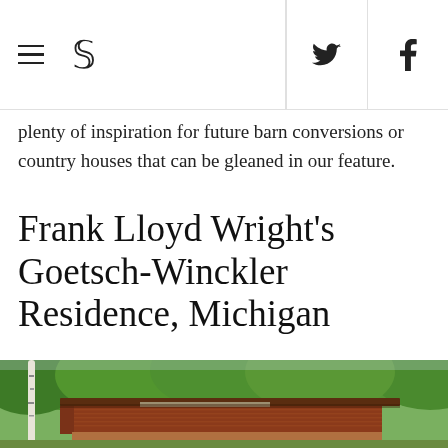≡ S [twitter] [facebook]
plenty of inspiration for future barn conversions or country houses that can be gleaned in our feature.
Frank Lloyd Wright's Goetsch-Winckler Residence, Michigan
[Figure (photo): Exterior photo of the Frank Lloyd Wright Goetsch-Winckler Residence in Michigan, showing a low horizontal Usonian-style house with brick and wood details set against lush green trees. A birch tree is visible on the left.]